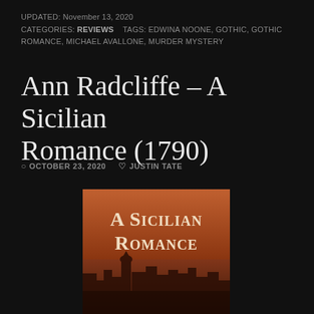UPDATED: November 13, 2020
CATEGORIES: REVIEWS   TAGS: EDWINA NOONE, GOTHIC, GOTHIC ROMANCE, MICHAEL AVALLONE, MURDER MYSTERY
Ann Radcliffe – A Sicilian Romance (1790)
OCTOBER 23, 2020   JUSTIN TATE
[Figure (photo): Book cover of 'A Sicilian Romance' showing large serif text 'A SICILIAN ROMANCE' in cream/white against a warm reddish-brown background with a Sicilian town silhouette below]